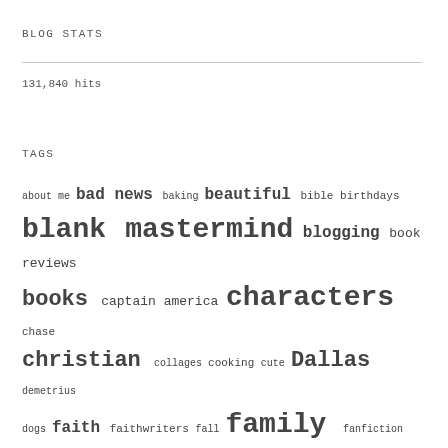BLOG STATS
131,840 hits
TAGS
about me bad news baking beautiful bible birthdays blank mastermind blogging book reviews books captain america characters chase christian collages cooking cute Dallas demetrius dogs faith faithwriters fall family fanfiction favorites fun funny gifs God holidays horatio hornblower humor kids leaves life liza long lost love micah monthly wrap up movie reviews movies music nature nautical odd tear out